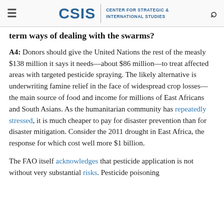CSIS | CENTER FOR STRATEGIC & INTERNATIONAL STUDIES
term ways of dealing with the swarms?
A4: Donors should give the United Nations the rest of the measly $138 million it says it needs—about $86 million—to treat affected areas with targeted pesticide spraying. The likely alternative is underwriting famine relief in the face of widespread crop losses—the main source of food and income for millions of East Africans and South Asians. As the humanitarian community has repeatedly stressed, it is much cheaper to pay for disaster prevention than for disaster mitigation. Consider the 2011 drought in East Africa, the response for which cost well more $1 billion.
The FAO itself acknowledges that pesticide application is not without very substantial risks. Pesticide poisoning